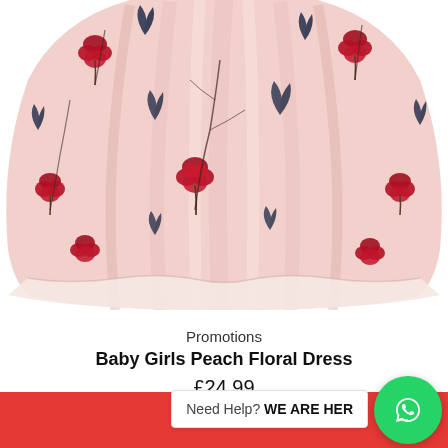[Figure (photo): Close-up of a baby girls peach floral dress skirt section, showing a full flowing skirt with pink/peach base fabric printed with red carnation flowers, dark navy/charcoal ivy leaves, and dark branch patterns.]
Promotions
Baby Girls Peach Floral Dress
£24.99
Select
Need Help? WE ARE HER